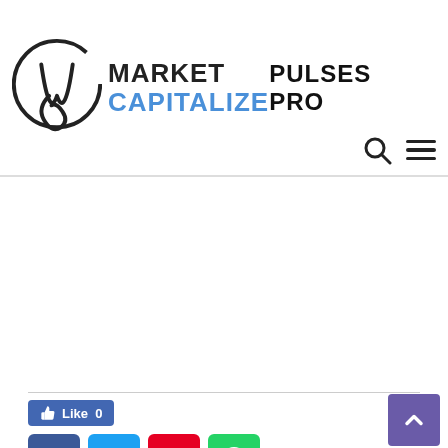[Figure (logo): Market Capitalize logo with circular M icon and text 'MARKET CAPITALIZE' next to it, alongside 'PULSES PRO' text on the right]
[Figure (infographic): Facebook Like button showing 'Like 0', and four social sharing buttons: Facebook (blue), Twitter (light blue), Pinterest (red), WhatsApp (green), plus a purple scroll-to-top arrow button]